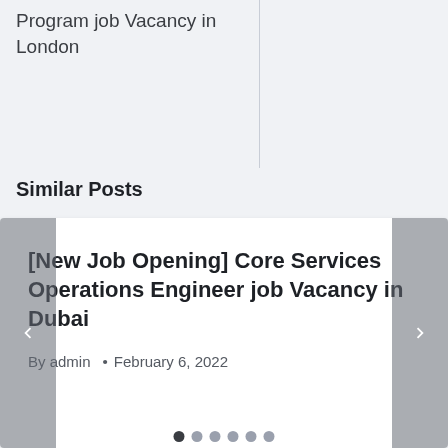Program job Vacancy in London
Similar Posts
[New Job Opening] Core Services Operations Engineer job Vacancy in Dubai
By admin • February 6, 2022